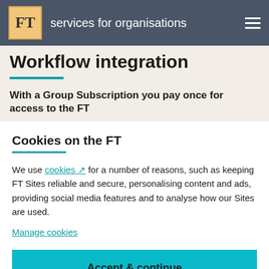FT | services for organisations
Workflow integration
With a Group Subscription you pay once for access to the FT
Cookies on the FT
We use cookies for a number of reasons, such as keeping FT Sites reliable and secure, personalising content and ads, providing social media features and to analyse how our Sites are used.
Manage cookies
Accept & continue